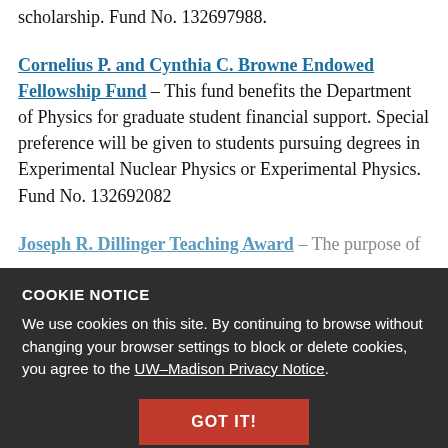scholarship. Fund No. 132697988.
Cornelius P. and Cynthia C. Browne Endowed Fellowship Fund – This fund benefits the Department of Physics for graduate student financial support. Special preference will be given to students pursuing degrees in Experimental Nuclear Physics or Experimental Physics. Fund No. 132692082
Joseph R. Dillinger Teaching Award – The purpose of ... [partially visible, obscured by cookie notice]
COOKIE NOTICE
We use cookies on this site. By continuing to browse without changing your browser settings to block or delete cookies, you agree to the UW–Madison Privacy Notice.
GOT IT!